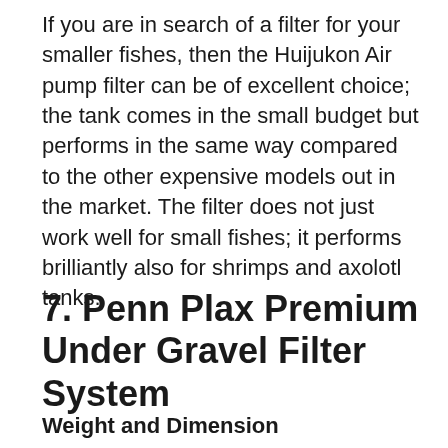If you are in search of a filter for your smaller fishes, then the Huijukon Air pump filter can be of excellent choice; the tank comes in the small budget but performs in the same way compared to the other expensive models out in the market. The filter does not just work well for small fishes; it performs brilliantly also for shrimps and axolotl tanks.
7. Penn Plax Premium Under Gravel Filter System
Weight and Dimension